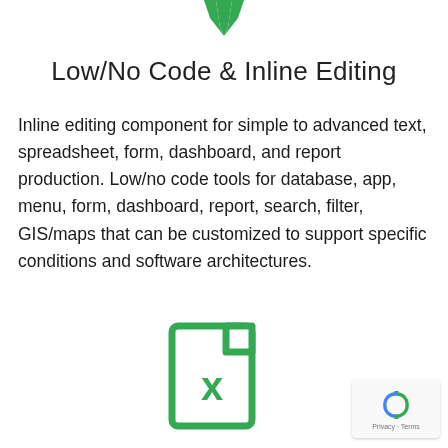[Figure (illustration): Partial green icon at top center — appears to be a tool/cursor or similar icon, cropped at top edge]
Low/No Code & Inline Editing
Inline editing component for simple to advanced text, spreadsheet, form, dashboard, and report production. Low/no code tools for database, app, menu, form, dashboard, report, search, filter, GIS/maps that can be customized to support specific conditions and software architectures.
[Figure (illustration): Green Excel/spreadsheet file icon with an X on it]
[Figure (logo): reCAPTCHA badge in bottom right corner with Privacy and Terms links]